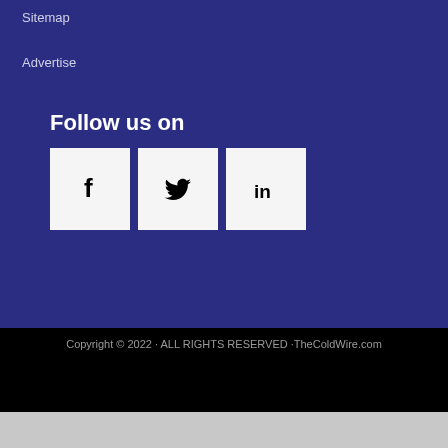Sitemap
Advertise
Follow us on
[Figure (infographic): Three social media icon buttons: Facebook (f), Twitter (bird), LinkedIn (in) — white square buttons on dark blue background]
Copyright © 2022 · ALL RIGHTS RESERVED ·TheColdWire.com